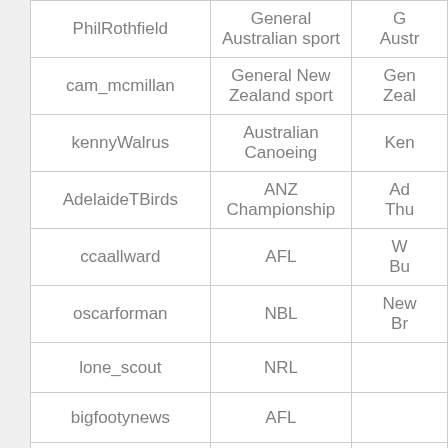| PhilRothfield | General Australian sport | G Austr… |
| cam_mcmillan | General New Zealand sport | Gen Zeal… |
| kennyWalrus | Australian Canoeing | Ken… |
| AdelaideTBirds | ANZ Championship | Ad Thu… |
| ccaallward | AFL | W Bu… |
| oscarforman | NBL | New Br… |
| lone_scout | NRL |  |
| bigfootynews | AFL |  |
| WestCoastEagles | AFL | We E… |
|  | Football… |  |